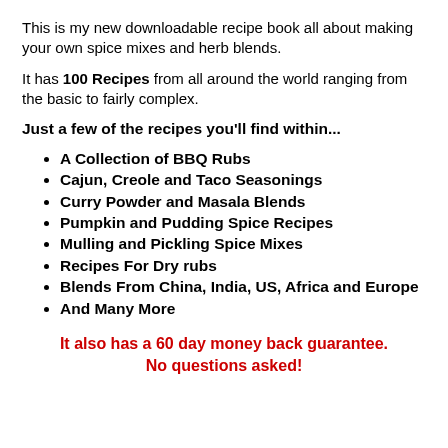This is my new downloadable recipe book all about making your own spice mixes and herb blends.
It has 100 Recipes from all around the world ranging from the basic to fairly complex.
Just a few of the recipes you'll find within...
A Collection of BBQ Rubs
Cajun, Creole and Taco Seasonings
Curry Powder and Masala Blends
Pumpkin and Pudding Spice Recipes
Mulling and Pickling Spice Mixes
Recipes For Dry rubs
Blends From China, India, US, Africa and Europe
And Many More
It also has a 60 day money back guarantee. No questions asked!